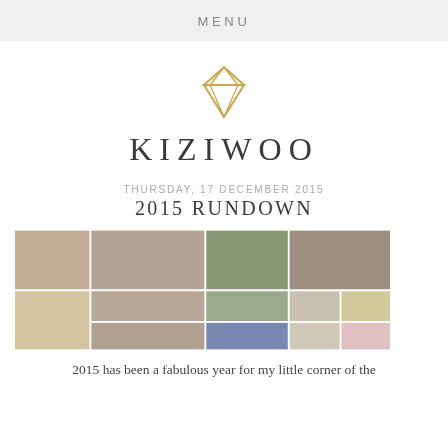MENU
[Figure (logo): Gold diamond/gem icon logo above site name KIZIWOO]
KIZIWOO
THURSDAY, 17 DECEMBER 2015
2015 RUNDOWN
[Figure (photo): Collage of multiple blog photos including a dog, makeup tutorials, food, beauty products, fashion and nail art]
2015 has been a fabulous year for my little corner of the